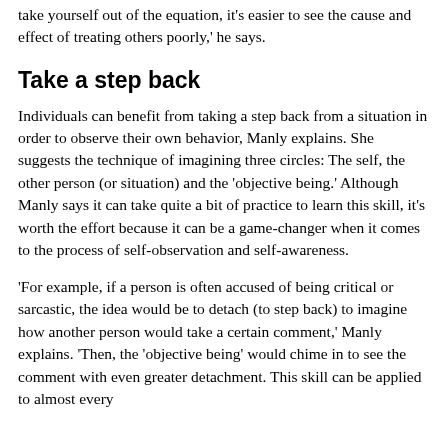take yourself out of the equation, it's easier to see the cause and effect of treating others poorly,' he says.
Take a step back
Individuals can benefit from taking a step back from a situation in order to observe their own behavior, Manly explains. She suggests the technique of imagining three circles: The self, the other person (or situation) and the 'objective being.' Although Manly says it can take quite a bit of practice to learn this skill, it's worth the effort because it can be a game-changer when it comes to the process of self-observation and self-awareness.
'For example, if a person is often accused of being critical or sarcastic, the idea would be to detach (to step back) to imagine how another person would take a certain comment,' Manly explains. 'Then, the 'objective being' would chime in to see the comment with even greater detachment. This skill can be applied to almost every